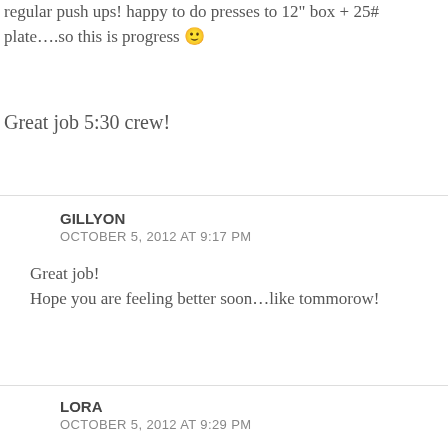regular push ups! happy to do presses to 12" box + 25# plate….so this is progress 🙂
Great job 5:30 crew!
GILLYON
OCTOBER 5, 2012 AT 9:17 PM
Great job!
Hope you are feeling better soon…like tommorow!
LORA
OCTOBER 5, 2012 AT 9:29 PM
Trying to save myself, from myself (LOL) by